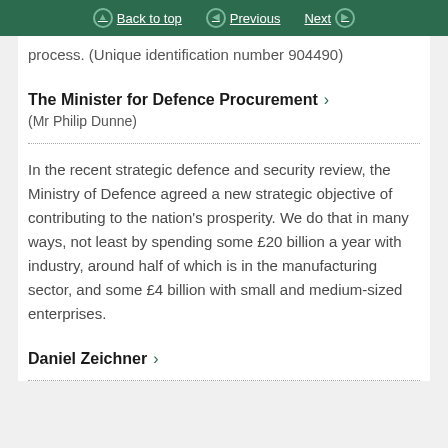Back to top   Previous   Next
process. (Unique identification number 904490)
The Minister for Defence Procurement
(Mr Philip Dunne)
In the recent strategic defence and security review, the Ministry of Defence agreed a new strategic objective of contributing to the nation's prosperity. We do that in many ways, not least by spending some £20 billion a year with industry, around half of which is in the manufacturing sector, and some £4 billion with small and medium-sized enterprises.
Daniel Zeichner